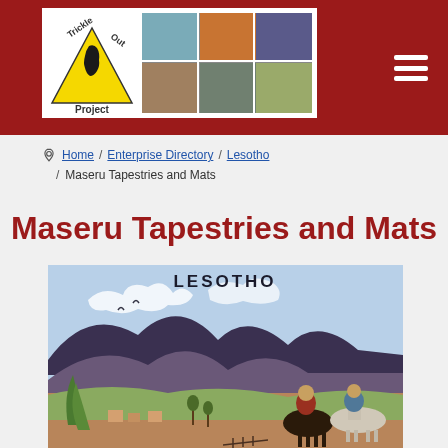[Figure (logo): Trickle Out Project logo with a yellow triangle containing Africa silhouette, and a collage of photos to the right]
Home / Enterprise Directory / Lesotho / Maseru Tapestries and Mats
Maseru Tapestries and Mats
[Figure (photo): Lesotho tapestry artwork showing a Lesotho mountain landscape with two riders on horseback, mountains in background, text 'LESOTHO' at top]